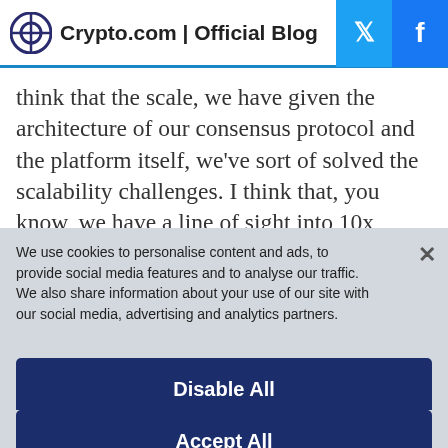Crypto.com | Official Blog
think that the scale, we have given the architecture of our consensus protocol and the platform itself, we've sort of solved the scalability challenges. I think that, you know, we have a line of sight into 10x improvement even in the TPS that we have now
We use cookies to personalise content and ads, to provide social media features and to analyse our traffic. We also share information about your use of our site with our social media, advertising and analytics partners.
Customize Settings
Disable All
Accept All